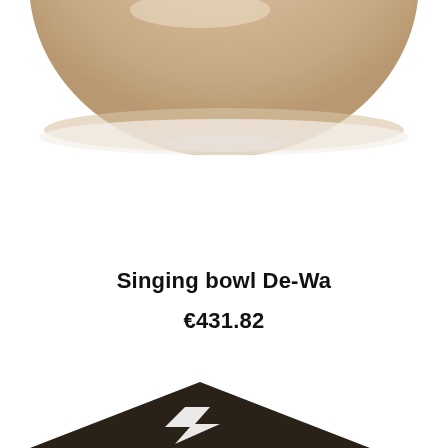[Figure (photo): Bottom portion of a singing bowl shown from above, beige/tan colored ceramic or wooden bowl on white background, cropped at top]
Singing bowl De-Wa
€431.82
[Figure (photo): Partial view of a dark brown/black square object with a white arrow or lightning bolt symbol on it, shown at an angle in the bottom portion of the page]